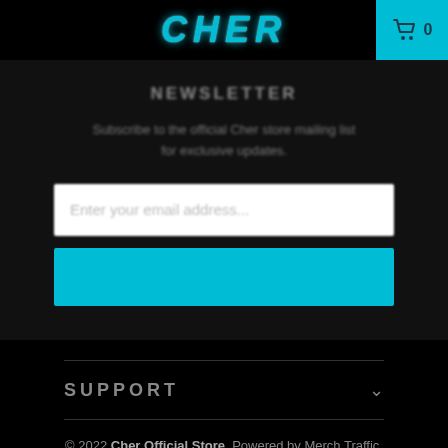CHER
NEWSLETTER
Subscribe to the official Cher store mailing list for exclusive updates.
Enter your email address...
SIGN UP
SUPPORT
© 2022 Cher Official Store. Powered by Merch Traffic.